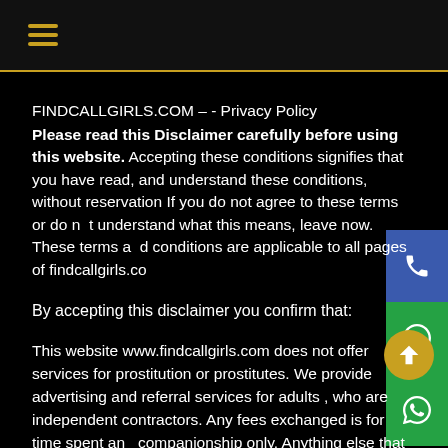☰ (hamburger menu)
FINDCALLGIRLS.COM – - Privacy Policy
Please read this Disclaimer carefully before using this website. Accepting these conditions signifies that you have read, and understand these conditions, without reservation If you do not agree to these terms or do not understand what this means, leave now. These terms and conditions are applicable to all pages of findcallgirls.co
By accepting this disclaimer you confirm that:
This website www.findcallgirls.com does not offer services for prostitution or prostitutes. We provide advertising and referral services for adults , who are independent contractors. Any fees exchanged is for time spent and companionship only. Anything else that may occur is a matter of personal choice between two consenting adults.